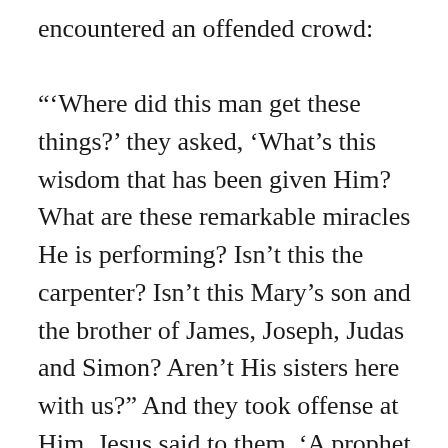encountered an offended crowd: “‘Where did this man get these things?’ they asked, ‘What’s this wisdom that has been given Him? What are these remarkable miracles He is performing? Isn’t this the carpenter? Isn’t this Mary’s son and the brother of James, Joseph, Judas and Simon? Aren’t His sisters here with us?” And they took offense at Him. Jesus said to them, ‘A prophet is not without honor except in his own town, among his relatives and in his own home.’ He could not do any miracles there, except lay His hands on a few sick people and heal them. He was amazed at their lack of faith.” (Mark 6:2–6,